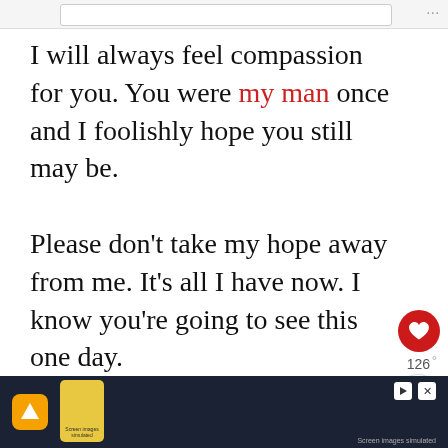[Figure (screenshot): Top browser/app bar with input field and menu dots]
I will always feel compassion for you. You were my man once and I foolishly hope you still may be.

Please don't take my hope away from me. It's all I have now. I know you're going to see this one day.

You are going to see that what we have is real and you will appreciate that I stuck by your side, even though
[Figure (screenshot): Social media UI overlay: heart/like button showing 126 likes, share button, and WHAT'S NEXT card reading 'This Is Why You Should...']
[Figure (screenshot): Advertisement banner at bottom with dark background, orange icon, phone graphic, play and close buttons, 'Screen images simulated' disclaimer]